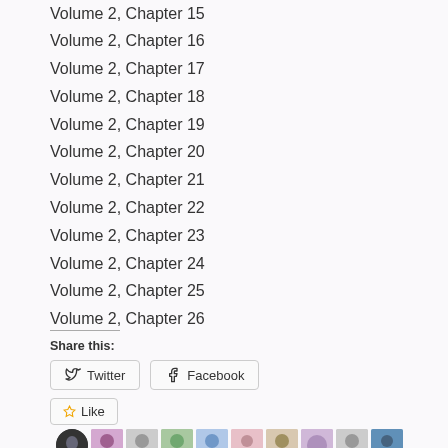Volume 2, Chapter 15
Volume 2, Chapter 16
Volume 2, Chapter 17
Volume 2, Chapter 18
Volume 2, Chapter 19
Volume 2, Chapter 20
Volume 2, Chapter 21
Volume 2, Chapter 22
Volume 2, Chapter 23
Volume 2, Chapter 24
Volume 2, Chapter 25
Volume 2, Chapter 26
Share this:
Twitter  Facebook
Like
25 bloggers like this.